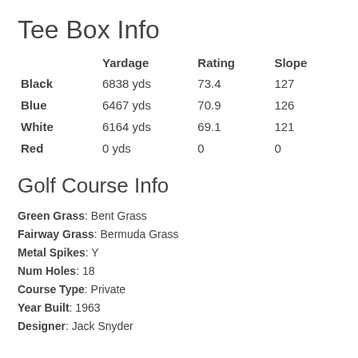Tee Box Info
|  | Yardage | Rating | Slope |
| --- | --- | --- | --- |
| Black | 6838 yds | 73.4 | 127 |
| Blue | 6467 yds | 70.9 | 126 |
| White | 6164 yds | 69.1 | 121 |
| Red | 0 yds | 0 | 0 |
Golf Course Info
Green Grass: Bent Grass
Fairway Grass: Bermuda Grass
Metal Spikes: Y
Num Holes: 18
Course Type: Private
Year Built: 1963
Designer: Jack Snyder